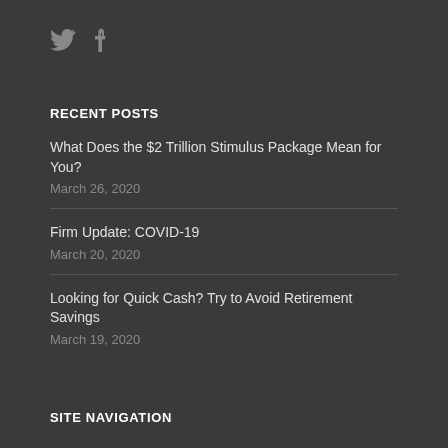[Figure (other): Twitter and Facebook social media icons in dark gray]
RECENT POSTS
What Does the $2 Trillion Stimulus Package Mean for You?
March 26, 2020
Firm Update: COVID-19
March 20, 2020
Looking for Quick Cash? Try to Avoid Retirement Savings
March 19, 2020
SITE NAVIGATION